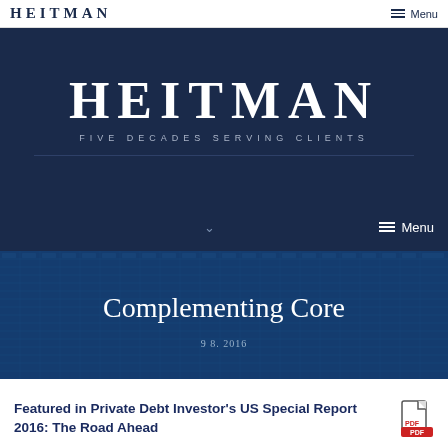HEITMAN
Menu
HEITMAN
FIVE DECADES SERVING CLIENTS
[Figure (screenshot): Hero image of building facade in blue tones with 'Complementing Core' title overlaid and date 9.8.2016]
Featured in Private Debt Investor's US Special Report 2016: The Road Ahead